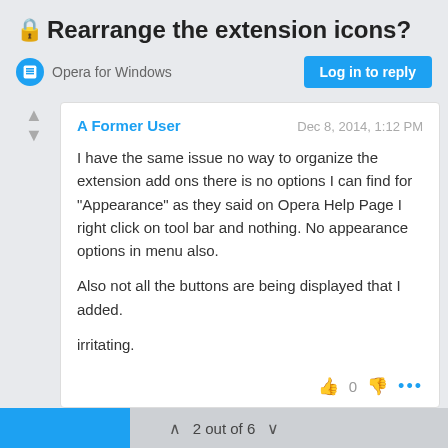🔒Rearrange the extension icons?
Opera for Windows
Log in to reply
A Former User
Dec 8, 2014, 1:12 PM
I have the same issue no way to organize the extension add ons there is no options I can find for "Appearance" as they said on Opera Help Page I right click on tool bar and nothing. No appearance options in menu also.

Also not all the buttons are being displayed that I added.

irritating.
2 out of 6